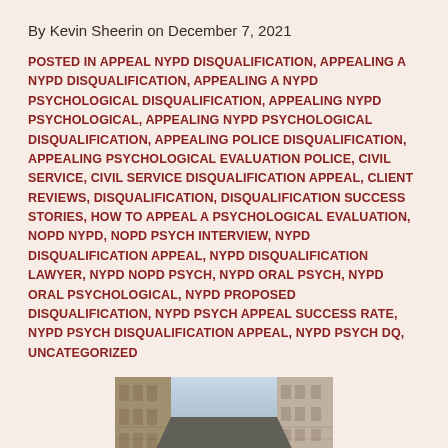By Kevin Sheerin on December 7, 2021
POSTED IN APPEAL NYPD DISQUALIFICATION, APPEALING A NYPD DISQUALIFICATION, APPEALING A NYPD PSYCHOLOGICAL DISQUALIFICATION, APPEALING NYPD PSYCHOLOGICAL, APPEALING NYPD PSYCHOLOGICAL DISQUALIFICATION, APPEALING POLICE DISQUALIFICATION, APPEALING PSYCHOLOGICAL EVALUATION POLICE, CIVIL SERVICE, CIVIL SERVICE DISQUALIFICATION APPEAL, CLIENT REVIEWS, DISQUALIFICATION, DISQUALIFICATION SUCCESS STORIES, HOW TO APPEAL A PSYCHOLOGICAL EVALUATION, NOPD NYPD, NOPD PSYCH INTERVIEW, NYPD DISQUALIFICATION APPEAL, NYPD DISQUALIFICATION LAWYER, NYPD NOPD PSYCH, NYPD ORAL PSYCH, NYPD ORAL PSYCHOLOGICAL, NYPD PROPOSED DISQUALIFICATION, NYPD PSYCH APPEAL SUCCESS RATE, NYPD PSYCH DISQUALIFICATION APPEAL, NYPD PSYCH DQ, UNCATEGORIZED
[Figure (photo): Street-level view looking down a New York City street with tall buildings on both sides and a police vehicle visible at the bottom.]